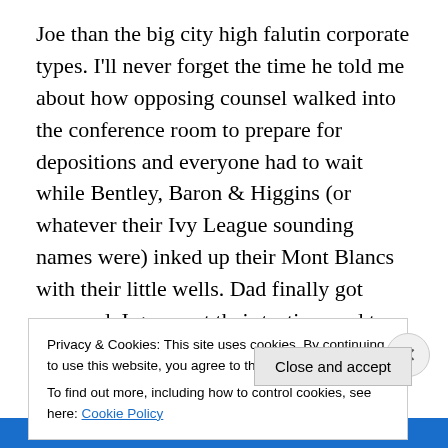Joe than the big city high falutin corporate types. I'll never forget the time he told me about how opposing counsel walked into the conference room to prepare for depositions and everyone had to wait while Bentley, Baron & Higgins (or whatever their Ivy League sounding names were) inked up their Mont Blancs with their little wells. Dad finally got annoyed, I guess, at their tactics used to intimidate the poor little commoner being deposed, and pulled out his Bic like a knight in shining armor brandishing his sword to save the day. “C’mon, Guys. Let’s get this going,” he said. He was a great litigator and his reputation
Privacy & Cookies: This site uses cookies. By continuing to use this website, you agree to their use.
To find out more, including how to control cookies, see here: Cookie Policy